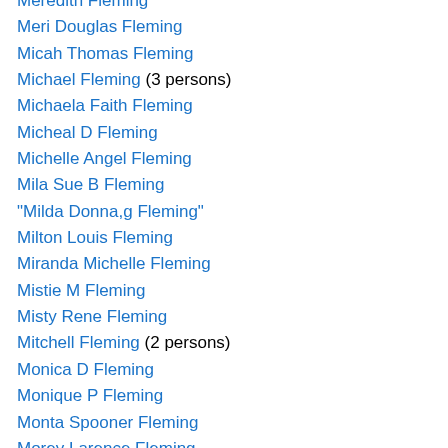Meredith Fleming
Meri Douglas Fleming
Micah Thomas Fleming
Michael Fleming (3 persons)
Michaela Faith Fleming
Micheal D Fleming
Michelle Angel Fleming
Mila Sue B Fleming
"Milda Donna,g Fleming"
Milton Louis Fleming
Miranda Michelle Fleming
Mistie M Fleming
Misty Rene Fleming
Mitchell Fleming (2 persons)
Monica D Fleming
Monique P Fleming
Monta Spooner Fleming
Morey Larence Fleming